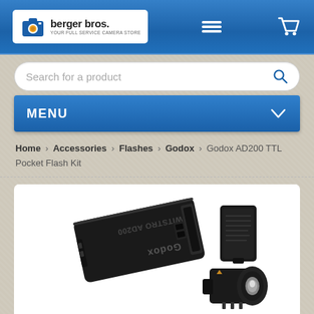berger bros. — navigation header with logo, menu icon, cart icon
Search for a product
MENU
Home › Accessories › Flashes › Godox › Godox AD200 TTL Pocket Flash Kit
[Figure (photo): Product photo of Godox AD200 TTL Pocket Flash Kit showing the main flash unit (black rectangular device with Godox WITSTRO AD200 branding), a battery attachment, and a bulb head attachment against a white background.]